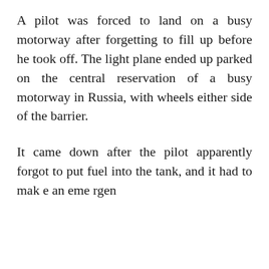A pilot was forced to land on a busy motorway after forgetting to fill up before he took off. The light plane ended up parked on the central reservation of a busy motorway in Russia, with wheels either side of the barrier.
It came down after the pilot apparently forgot to put fuel into the tank, and it had to make an emergency